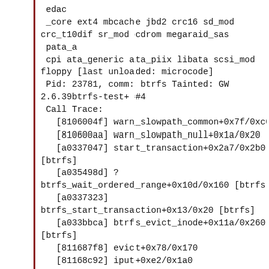edac
 _core ext4 mbcache jbd2 crc16 sd_mod
crc_t10dif sr_mod cdrom megaraid_sas
 pata_a
 cpi ata_generic ata_piix libata scsi_mod
floppy [last unloaded: microcode]
 Pid: 23781, comm: btrfs Tainted: GW
2.6.39btrfs-test+ #4
 Call Trace:
   [8106004f] warn_slowpath_common+0x7f/0xc0
   [810600aa] warn_slowpath_null+0x1a/0x20
   [a0337047] start_transaction+0x2a7/0x2b0
[btrfs]
   [a035498d] ?
btrfs_wait_ordered_range+0x10d/0x160 [btrfs]
   [a0337323]
btrfs_start_transaction+0x13/0x20 [btrfs]
   [a033bbca] btrfs_evict_inode+0x11a/0x260
[btrfs]
   [811687f8] evict+0x78/0x170
   [81168c92] iput+0xe2/0x1a0
   [a031f171]
btrfs_remove_block_group+0x141/0x3c0 [btrfs]